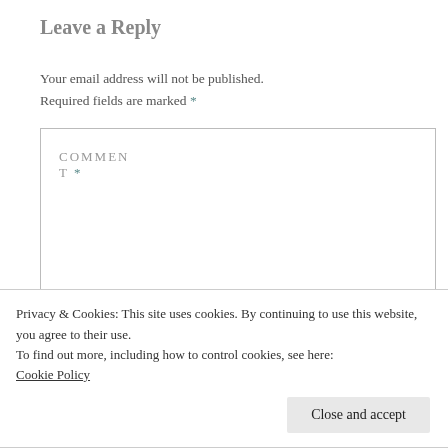Leave a Reply
Your email address will not be published. Required fields are marked *
[Figure (other): Comment text area form field with label 'COMMENT *']
Privacy & Cookies: This site uses cookies. By continuing to use this website, you agree to their use.
To find out more, including how to control cookies, see here: Cookie Policy
Close and accept